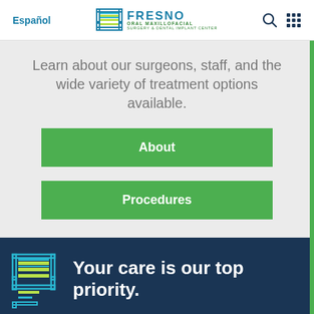Español | Fresno Oral Maxillofacial Surgery & Dental Implant Center
Learn about our surgeons, staff, and the wide variety of treatment options available.
About
Procedures
[Figure (logo): Fresno Oral Maxillofacial Surgery & Dental Implant Center logo with stylized bracket icon]
Your care is our top priority.